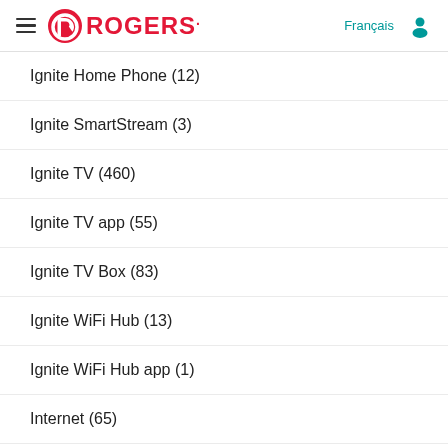Rogers
Ignite Home Phone (12)
Ignite SmartStream (3)
Ignite TV (460)
Ignite TV app (55)
Ignite TV Box (83)
Ignite WiFi Hub (13)
Ignite WiFi Hub app (1)
Internet (65)
Low Battery (1)
Macroblocking (10)